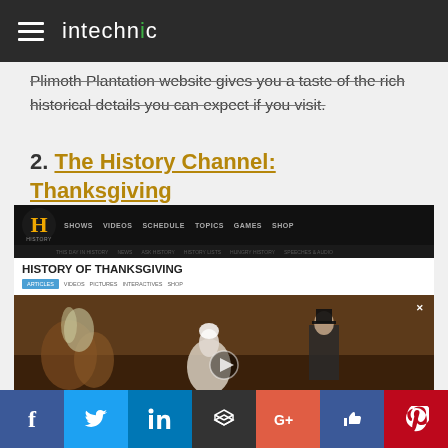intechnic
Plimoth Plantation website gives you a taste of the rich historical details you can expect if you visit.
2. The History Channel: Thanksgiving
[Figure (screenshot): Screenshot of The History Channel website showing the History of Thanksgiving page with a video thumbnail featuring a painting of Pilgrims and Native Americans at the first Thanksgiving feast.]
Social sharing bar: Facebook, Twitter, LinkedIn, Buffer, Google+, Like, Pinterest